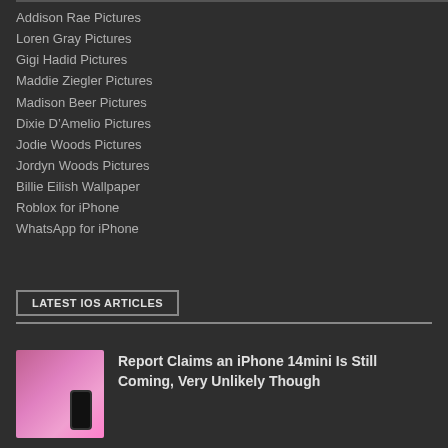Addison Rae Pictures
Loren Gray Pictures
Gigi Hadid Pictures
Maddie Ziegler Pictures
Madison Beer Pictures
Dixie D'Amelio Pictures
Jodie Woods Pictures
Jordyn Woods Pictures
Billie Eilish Wallpaper
Roblox for iPhone
WhatsApp for iPhone
LATEST IOS ARTICLES
[Figure (photo): Pink iPhone 14 mini product photo]
Report Claims an iPhone 14mini Is Still Coming, Very Unlikely Though